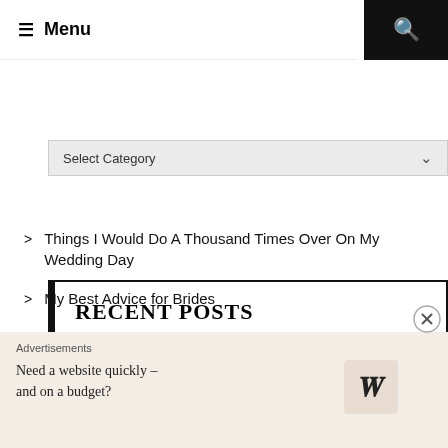≡ Menu
Select Category
RECENT POSTS
Things I Would Do A Thousand Times Over On My Wedding Day
My Best Advice for Brides
DIY Wax Seal on Wedding Invitations
Advertisements
Need a website quickly – and on a budget?